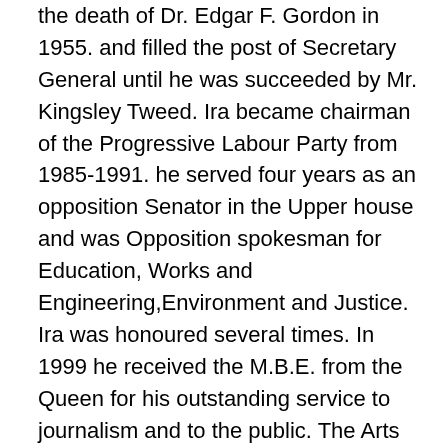the death of Dr. Edgar F. Gordon in 1955. and filled the post of Secretary General until he was succeeded by Mr. Kingsley Tweed. Ira became chairman  of the Progressive Labour Party from 1985-1991. he served four years as an opposition Senator in the Upper house and was Opposition spokesman for Education, Works and Engineering,Environment and Justice. Ira was honoured several times. In 1999 he received the M.B.E. from the Queen for his outstanding service to journalism and to the public. The Arts Council awarded him a lifetime achievement in 2002. In February 2003 he traveled to Washington D.C. where he was honoured by the 2nd. District of the A.M.E. Church as a Trail Blazer in the media. Ira once stated he believed and stood for equality,justice,fair play, freedom and honesty. Ira left no stone un-turned in his writing career Bermuda truly lost a historic high for and scholarly commentary...